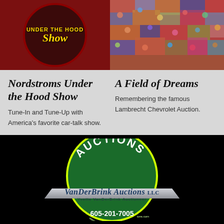[Figure (logo): Nordstroms Under the Hood Show circular logo with dark red background and yellow text]
[Figure (photo): Crowd of people at auction event, dense crowd shot from above]
Nordstroms Under the Hood Show
Tune-In and Tune-Up with America's favorite car-talk show.
A Field of Dreams
Remembering the famous Lambrecht Chevrolet Auction.
[Figure (logo): VanDerBrink Auctions LLC logo — green circle with 'AUCTIONS' text at top, silver chevron banner with 'VanDerBrink Auctions LLC' and 'Yvette VanDerBrink Auctioneer', phone number 605-201-7005, website at bottom]